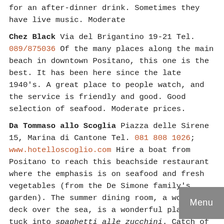for an after-dinner drink. Sometimes they have live music. Moderate
Chez Black Via del Brigantino 19-21 Tel. 089/875036 Of the many places along the main beach in downtown Positano, this one is the best. It has been here since the late 1940's. A great place to people watch, and the service is friendly and good. Good selection of seafood. Moderate prices.
Da Tommaso allo Scoglia Piazza delle Sirene 15, Marina di Cantone Tel. 081 808 1026; www.hotelloscoglio.com Hire a boat from Positano to reach this beachside restaurant where the emphasis is on seafood and fresh vegetables (from the De Simone family's garden). The summer dining room, a wooden deck over the sea, is a wonderful place to tuck into spaghetti alle zucchini. Catch of the day poached all'acqua pazza (in a tomato-and-herb flavored stock) makes a good secondo, and for dessert you could try the amarena tart (with cherries)